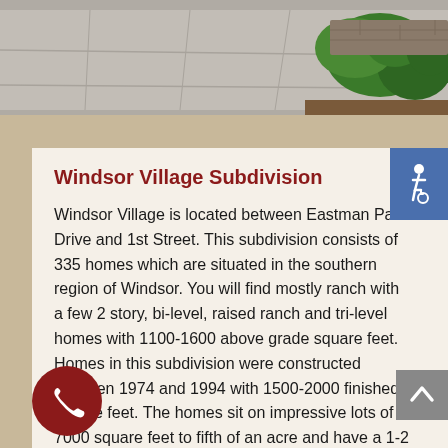[Figure (photo): Top banner photo showing a concrete pathway with green shrubs and landscaping on the right side]
Windsor Village Subdivision
Windsor Village is located between Eastman Park Drive and 1st Street. This subdivision consists of 335 homes which are situated in the southern region of Windsor. You will find mostly ranch with a few 2 story, bi-level, raised ranch and tri-level homes with 1100-1600 above grade square feet. Homes in this subdivision were constructed between 1974 and 1994 with 1500-2000 finished square feet. The homes sit on impressive lots of 7000 square feet to fifth of an acre and have a 1-2 car attached garage. Highland Meadows Golf Course, a tough course with great views and friendly staff is located at just a short drive from